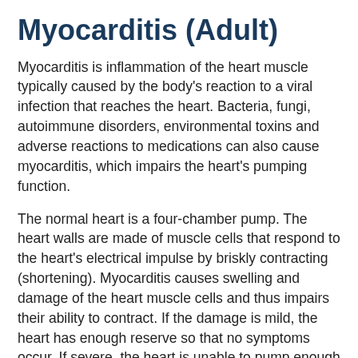Myocarditis (Adult)
Myocarditis is inflammation of the heart muscle typically caused by the body's reaction to a viral infection that reaches the heart. Bacteria, fungi, autoimmune disorders, environmental toxins and adverse reactions to medications can also cause myocarditis, which impairs the heart's pumping function.
The normal heart is a four-chamber pump. The heart walls are made of muscle cells that respond to the heart's electrical impulse by briskly contracting (shortening). Myocarditis causes swelling and damage of the heart muscle cells and thus impairs their ability to contract. If the damage is mild, the heart has enough reserve so that no symptoms occur. If severe, the heart is unable to pump enough blood to meet the body's needs, resulting in symptoms of congestive heart failure.
Myocarditis can also be associated with damage to...